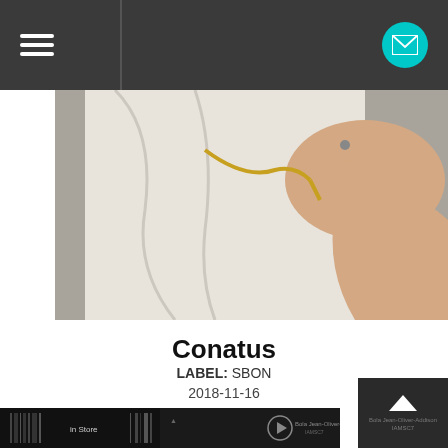Navigation bar with hamburger menu and mail icon
[Figure (photo): Close-up photo of a person in a white sleeveless top with a gold necklace, arm visible, gray background]
Conatus
LABEL: SBON
2018-11-16
Vinyl: $22.98  + BUY
[Figure (photo): Bottom thumbnail strip showing album art in dark tones]